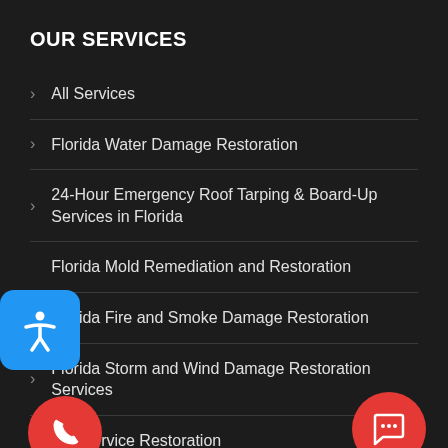OUR SERVICES
All Services
Florida Water Damage Restoration
24-Hour Emergency Roof Tarping & Board-Up Services in Florida
Florida Mold Remediation and Restoration
Florida Fire and Smoke Damage Restoration
Florida Storm and Wind Damage Restoration Services
Full Service Restoration
Contents Restoration
Commercial Services
[Figure (illustration): Blue accessibility icon button on left side]
[Figure (illustration): Red phone call button at bottom left]
[Figure (illustration): Red chat/message button at bottom right]